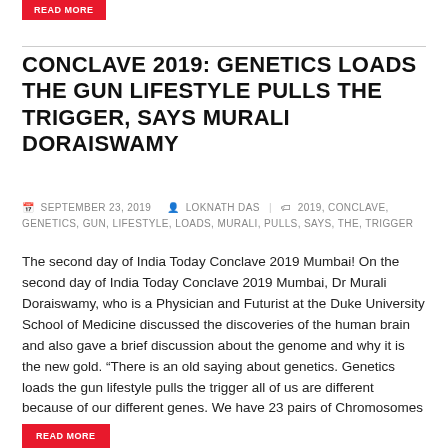READ MORE
CONCLAVE 2019: GENETICS LOADS THE GUN LIFESTYLE PULLS THE TRIGGER, SAYS MURALI DORAISWAMY
SEPTEMBER 23, 2019   LOKNATH DAS | 2019, CONCLAVE, GENETICS, GUN, LIFESTYLE, LOADS, MURALI, PULLS, SAYS, THE, TRIGGER
The second day of India Today Conclave 2019 Mumbai! On the second day of India Today Conclave 2019 Mumbai, Dr Murali Doraiswamy, who is a Physician and Futurist at the Duke University School of Medicine discussed the discoveries of the human brain and also gave a brief discussion about the genome and why it is the new gold. “There is an old saying about genetics. Genetics loads the gun lifestyle pulls the trigger all of us are different because of our different genes. We have 23 pairs of Chromosomes and...
READ MORE